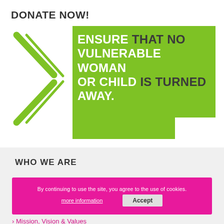DONATE NOW!
[Figure (illustration): Green chevron/arrow pointing right on white background, alongside a green rectangular banner with text: ENSURE THAT NO VULNERABLE WOMAN OR CHILD IS TURNED AWAY. White words: ENSURE, VULNERABLE WOMAN, OR CHILD, AWAY. Dark words: THAT NO, IS TURNED.]
WHO WE ARE
By continuing to use the site, you agree to the use of cookies.
more information   Accept
> Mission, Vision & Values